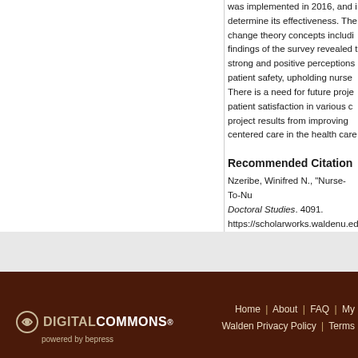was implemented in 2016, and it was to determine its effectiveness. The change theory concepts including findings of the survey revealed t strong and positive perceptions patient safety, upholding nurse There is a need for future proje patient satisfaction in various c project results from improving centered care in the health care
Recommended Citation
Nzeribe, Winifred N., "Nurse-To-Nu Doctoral Studies. 4091. https://scholarworks.waldenu.edu
DIGITAL COMMONS powered by bepress | Home | About | FAQ | My | Walden Privacy Policy | Terms